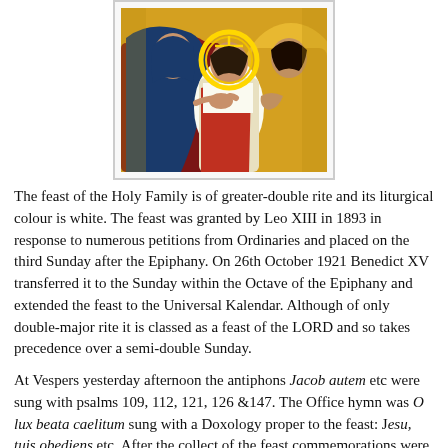[Figure (illustration): Byzantine-style icon painting showing the Holy Family: Mary in red and blue robes on the left, Jesus as a young figure with a golden halo in the center, and another figure in golden-yellow robes on the right. The background is gold.]
The feast of the Holy Family is of greater-double rite and its liturgical colour is white. The feast was granted by Leo XIII in 1893 in response to numerous petitions from Ordinaries and placed on the third Sunday after the Epiphany. On 26th October 1921 Benedict XV transferred it to the Sunday within the Octave of the Epiphany and extended the feast to the Universal Kalendar. Although of only double-major rite it is classed as a feast of the LORD and so takes precedence over a semi-double Sunday.
At Vespers yesterday afternoon the antiphons Jacob autem etc were sung with psalms 109, 112, 121, 126 &147. The Office hymn was O lux beata caelitum sung with a Doxology proper to the feast: Jesu, tuis obediens etc. After the collect of the feast commemorations were sung of the day within the